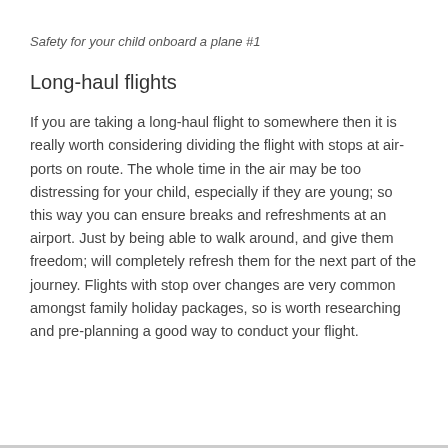Safety for your child onboard a plane #1
Long-haul flights
If you are taking a long-haul flight to somewhere then it is really worth considering dividing the flight with stops at air-ports on route. The whole time in the air may be too distressing for your child, especially if they are young; so this way you can ensure breaks and refreshments at an airport. Just by being able to walk around, and give them freedom; will completely refresh them for the next part of the journey. Flights with stop over changes are very common amongst family holiday packages, so is worth researching and pre-planning a good way to conduct your flight.